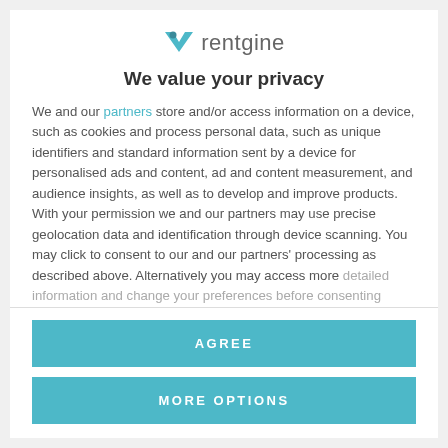[Figure (logo): Rentgine logo with teal checkmark/bird icon and grey 'rentgine' wordmark]
We value your privacy
We and our partners store and/or access information on a device, such as cookies and process personal data, such as unique identifiers and standard information sent by a device for personalised ads and content, ad and content measurement, and audience insights, as well as to develop and improve products. With your permission we and our partners may use precise geolocation data and identification through device scanning. You may click to consent to our and our partners' processing as described above. Alternatively you may access more detailed information and change your preferences before consenting
AGREE
MORE OPTIONS